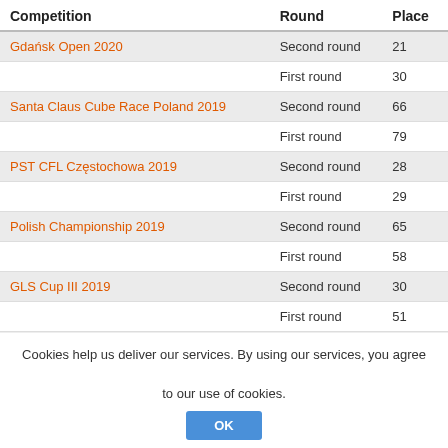| Competition | Round | Place |
| --- | --- | --- |
| Gdańsk Open 2020 | Second round | 21 |
|  | First round | 30 |
| Santa Claus Cube Race Poland 2019 | Second round | 66 |
|  | First round | 79 |
| PST CFL Częstochowa 2019 | Second round | 28 |
|  | First round | 29 |
| Polish Championship 2019 | Second round | 65 |
|  | First round | 58 |
| GLS Cup III 2019 | Second round | 30 |
|  | First round | 51 |
| GLS Cup II 2019 | Second round | 38 |
Cookies help us deliver our services. By using our services, you agree to our use of cookies.